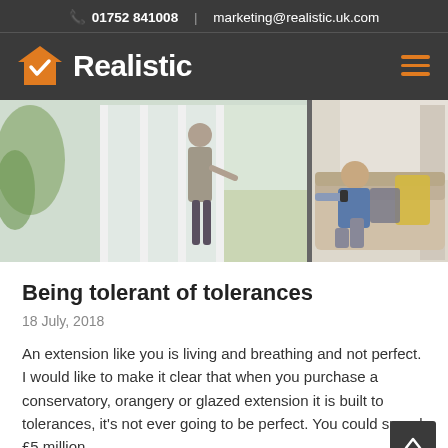01752 841008  |  marketing@realistic.uk.com
[Figure (logo): Realistic company logo — orange house icon with white checkmark, white bold text 'Realistic', on dark grey background. Orange hamburger menu icon on right.]
[Figure (photo): Hero image: left panel shows a woman opening white bi-fold or patio doors to a sunny garden; right panel shows a man relaxing on a beige sofa with yellow cushions in a bright living room.]
Being tolerant of tolerances
18 July, 2018
An extension like you is living and breathing and not perfect. I would like to make it clear that when you purchase a conservatory, orangery or glazed extension it is built to tolerances, it's not ever going to be perfect. You could spend £5 million…